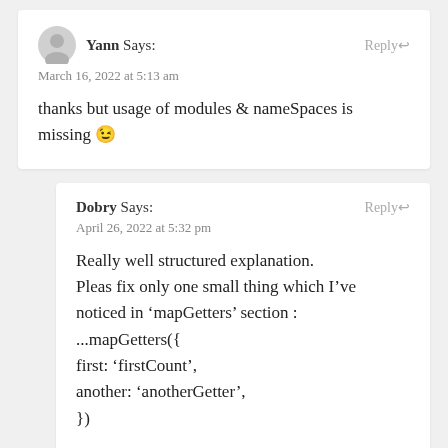Yann Says: March 16, 2022 at 5:13 am
thanks but usage of modules & nameSpaces is missing 😉
Dobry Says: April 26, 2022 at 5:32 pm
Really well structured explanation.
Pleas fix only one small thing which I've noticed in 'mapGetters' section :
...mapGetters({
first: 'firstCount',
another: 'anotherGetter',
})